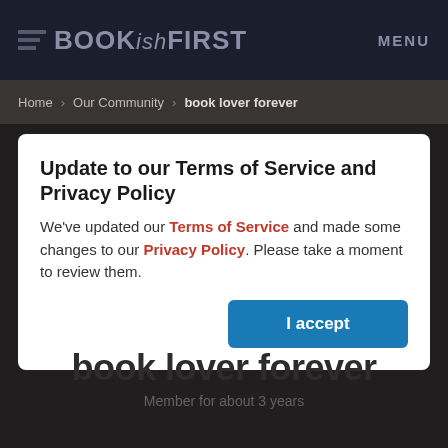BOOKishFIRST   MENU
Home > Our Community > book lover forever
Update to our Terms of Service and Privacy Policy
We've updated our Terms of Service and made some changes to our Privacy Policy. Please take a moment to review them.
I accept
book lover forever
Member for about 3 years